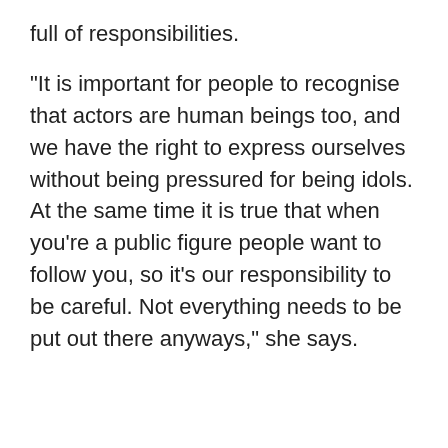full of responsibilities.
"It is important for people to recognise that actors are human beings too, and we have the right to express ourselves without being pressured for being idols. At the same time it is true that when you're a public figure people want to follow you, so it's our responsibility to be careful. Not everything needs to be put out there anyways," she says.